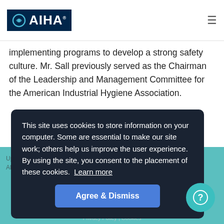AIHA logo and navigation hamburger menu
implementing programs to develop a strong safety culture. Mr. Sall previously served as the Chairman of the Leadership and Management Committee for the American Industrial Hygiene Association.
This site uses cookies to store information on your computer. Some are essential to make our site work; others help us improve the user experience. By using the site, you consent to the placement of these cookies. Learn more
Upcoming Events   Courses   Search   Support
About AIHA   Sign In
Agree & Dismiss
Privacy Policy | Cookies